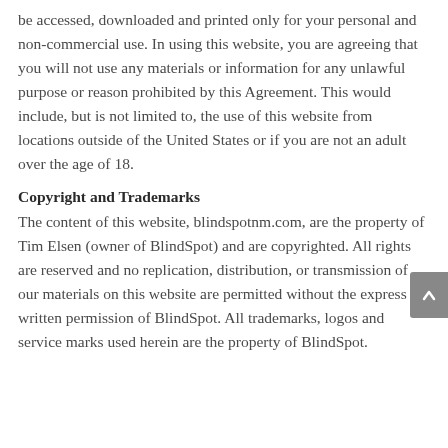be accessed, downloaded and printed only for your personal and non-commercial use. In using this website, you are agreeing that you will not use any materials or information for any unlawful purpose or reason prohibited by this Agreement. This would include, but is not limited to, the use of this website from locations outside of the United States or if you are not an adult over the age of 18.
Copyright and Trademarks
The content of this website, blindspotnm.com, are the property of Tim Elsen (owner of BlindSpot) and are copyrighted. All rights are reserved and no replication, distribution, or transmission of our materials on this website are permitted without the express written permission of BlindSpot. All trademarks, logos and service marks used herein are the property of BlindSpot.